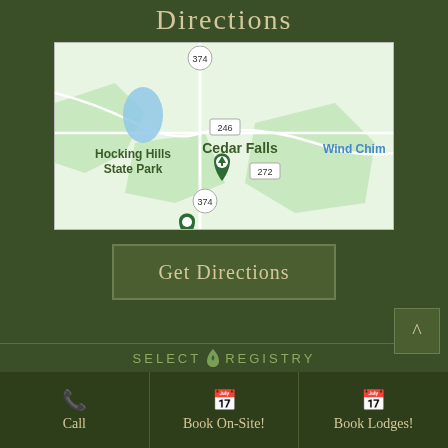Directions
[Figure (map): Google Maps screenshot showing Hocking Hills State Park area with Cedar Falls location marker, route 374, 246, and 272 labeled, and Wind Chime partially visible on the right.]
Get Directions
SELECT REGISTRY
Call | Book On-Site! | Book Lodges!